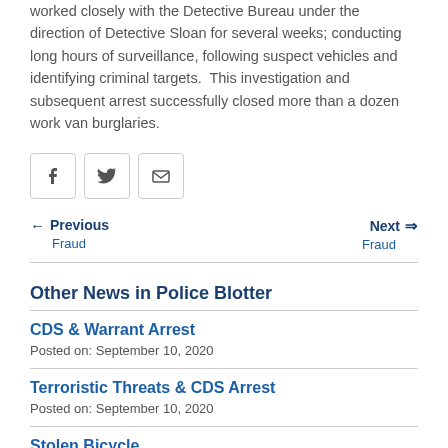worked closely with the Detective Bureau under the direction of Detective Sloan for several weeks; conducting long hours of surveillance, following suspect vehicles and identifying criminal targets.  This investigation and subsequent arrest successfully closed more than a dozen work van burglaries.
[Figure (other): Social share buttons: Facebook, Twitter, Email]
← Previous Fraud    Next ⇒ Fraud
Other News in Police Blotter
CDS & Warrant Arrest
Posted on: September 10, 2020
Terroristic Threats & CDS Arrest
Posted on: September 10, 2020
Stolen Bicycle